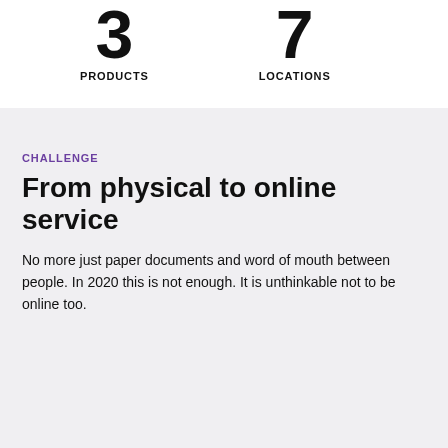PRODUCTS
LOCATIONS
CHALLENGE
From physical to online service
No more just paper documents and word of mouth between people. In 2020 this is not enough. It is unthinkable not to be online too.